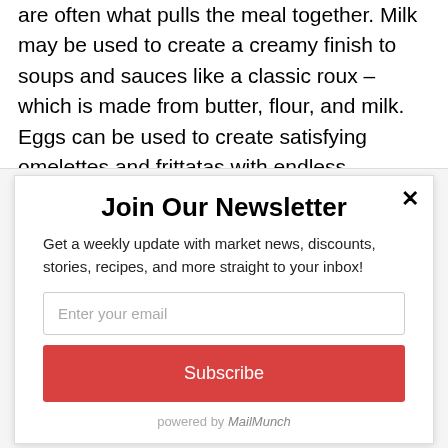are often what pulls the meal together. Milk may be used to create a creamy finish to soups and sauces like a classic roux – which is made from butter, flour, and milk. Eggs can be used to create satisfying omelettes and frittatas with endless possibilities for fillings. Cheese it...
Join Our Newsletter
Get a weekly update with market news, discounts, stories, recipes, and more straight to your inbox!
Enter your email
Subscribe
powered by MailMunch